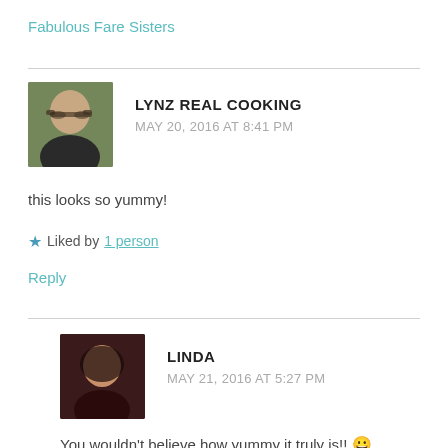Fabulous Fare Sisters
LYNZ REAL COOKING
MAY 20, 2016 AT 8:41 PM
this looks so yummy!
Liked by 1 person
Reply
LINDA
MAY 21, 2016 AT 5:27 PM
You wouldn't believe how yummy it truly is!! 😀